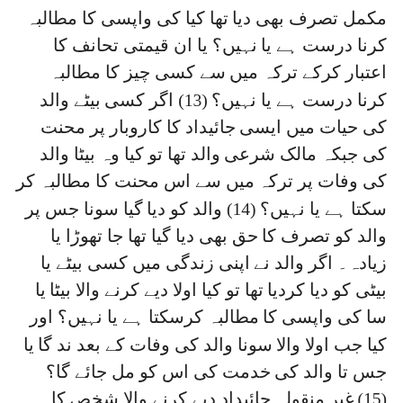مکمل تصرف بھی دیا تھا کیا کی واپسی کا مطالبہ کرنا درست ہے یا نہیں؟ یا ان قیمتی تحانف کا اعتبار کرکے ترکہ میں سے کسی چیز کا مطالبہ کرنا درست ہے یا نہیں؟ (13) اگر کسی بیٹے والد کی حیات میں ایسی جائیداد کا کاروبار پر محنت کی جبکہ مالک شرعی والد تھا تو کیا وہ بیٹا والد کی وفات پر ترکہ میں سے اس محنت کا مطالبہ کر سکتا ہے یا نہیں؟ (14) والد کو دیا گیا سونا جس پر والد کو تصرف کا حق بھی دیا گیا تھا جا تھوڑا یا زیادہ۔ اگر والد نے اپنی زندگی میں کسی بیٹے یا بیٹی کو دیا کردیا تھا تو کیا اولا دیے کرنے والا بیٹا یا سا کی واپسی کا مطالبہ کرسکتا ہے یا نہیں؟ اور کیا جب اولا والا سونا والد کی وفات کے بعد ند گا یا جس تا والد کی خدمت کی اس کو مل جائے گا؟ (15) غیر منقولہ جائیداد دیے کرنے والا شخص کا صرف نیت کرلینا کہ میں تا مالک بھی بنایا اور قبضہ اور تصرف کا حق بھی دیا ہے یہ نیت